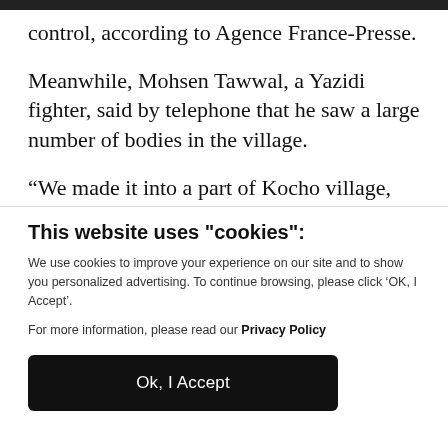control, according to Agence France-Presse.
Meanwhile, Mohsen Tawwal, a Yazidi fighter, said by telephone that he saw a large number of bodies in the village.
“We made it into a part of Kocho village,
This website uses "cookies":
We use cookies to improve your experience on our site and to show you personalized advertising. To continue browsing, please click ‘OK, I Accept’.
For more information, please read our Privacy Policy
Ok, I Accept